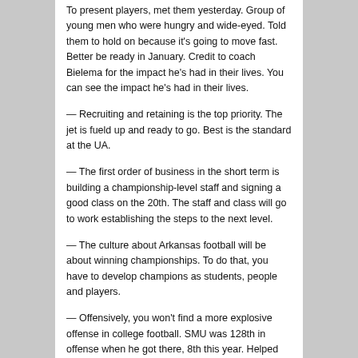To present players, met them yesterday. Group of young men who were hungry and wide-eyed. Told them to hold on because it's going to move fast. Better be ready in January. Credit to coach Bielema for the impact he's had in their lives. You can see the impact he's had in their lives.
— Recruiting and retaining is the top priority. The jet is fueld up and ready to go. Best is the standard at the UA.
— The first order of business in the short term is building a championship-level staff and signing a good class on the 20th. The staff and class will go to work establishing the steps to the next level.
— The culture about Arkansas football will be about winning championships. To do that, you have to develop champions as students, people and players.
— Offensively, you won't find a more explosive offense in college football. SMU was 128th in offense when he got there, 8th this year. Helped set. Won't be much time to sit in their seats. Will play fast. Defensively, will be built around stopping the run. Will hire the best defensive coordinator in college football. That's the standard. Wants players extremely upset at the end of the game because they have to wait seven days to hit again. Wants to be explosive and create turnovers on special teams.